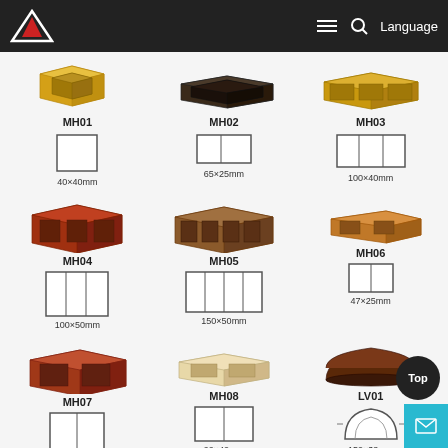Navigation bar with logo and Language selector
[Figure (illustration): MH01 - yellow square hollow tube profile, 40×40mm]
MH01
[Figure (engineering-diagram): Cross-section diagram single square hollow, 40×40mm]
40×40mm
[Figure (illustration): MH02 - dark brown flat rectangular hollow tube, 65×25mm]
MH02
[Figure (engineering-diagram): Cross-section diagram double hollow flat, 65×25mm]
65×25mm
[Figure (illustration): MH03 - gold/yellow triple hollow rectangular tube, 100×40mm]
MH03
[Figure (engineering-diagram): Cross-section diagram triple hollow rectangular, 100×40mm]
100×40mm
[Figure (illustration): MH04 - reddish-brown triple hollow tube, 100×50mm]
MH04
[Figure (engineering-diagram): Cross-section diagram triple hollow square, 100×50mm]
100×50mm
[Figure (illustration): MH05 - medium brown quad hollow wide plank, 150×50mm]
MH05
[Figure (engineering-diagram): Cross-section diagram quad hollow wide, 150×50mm]
150×50mm
[Figure (illustration): MH06 - orange-brown double hollow flat tube, 47×25mm]
MH06
[Figure (engineering-diagram): Cross-section diagram double hollow small, 47×25mm]
47×25mm
[Figure (illustration): MH07 - reddish-brown double hollow rectangular tube, 75×50mm]
MH07
[Figure (engineering-diagram): Cross-section diagram double hollow square, 75×50mm]
75×50mm
[Figure (illustration): MH08 - cream/beige flat hollow tube, 90×40mm]
MH08
[Figure (engineering-diagram): Cross-section diagram double hollow flat, 90×40mm]
90×40mm
[Figure (illustration): LV01 - dark brown curved profile/bullnose, 150×38mm]
LV01
[Figure (engineering-diagram): Cross-section diagram curved bullnose profile, 150×38mm]
150×38mm